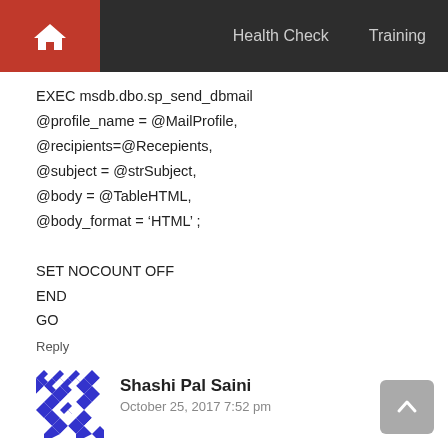Health Check   Training
EXEC msdb.dbo.sp_send_dbmail
@profile_name = @MailProfile,
@recipients=@Recepients,
@subject = @strSubject,
@body = @TableHTML,
@body_format = 'HTML' ;

SET NOCOUNT OFF
END
GO
Reply
Shashi Pal Saini
October 25, 2017 7:52 pm
Calculate Days in given year